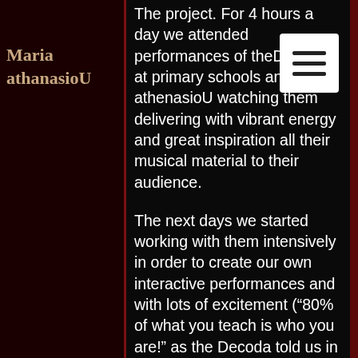The project. For 4 hours a day we attended performances of theDecoda at primary schools and in athenasioU watching them delivering with vibrant energy and great inspiration all their musical material to their audience.
The next days we started working with them intensively in order to create our own interactive performances and with lots of excitement (‘80% of what you teach is who you are!” as the Decoda told us in order to project our personalities in our performances!).
When the preparation finished and all the scripts were ready, the only thing...